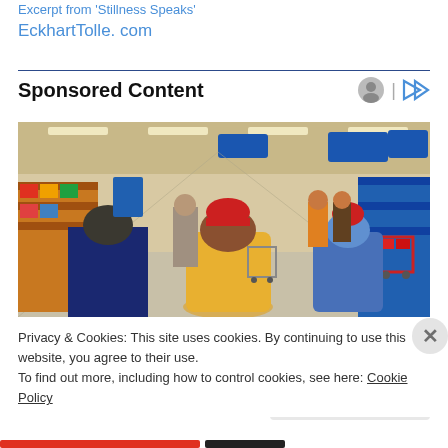Excerpt from 'Stillness Speaks'
EckhartTolle. com
[Figure (photo): Interior of a busy retail/grocery store with shoppers and shopping carts in the aisles, blue overhead signs, and shelves stocked with products.]
Sponsored Content
Privacy & Cookies: This site uses cookies. By continuing to use this website, you agree to their use. To find out more, including how to control cookies, see here: Cookie Policy